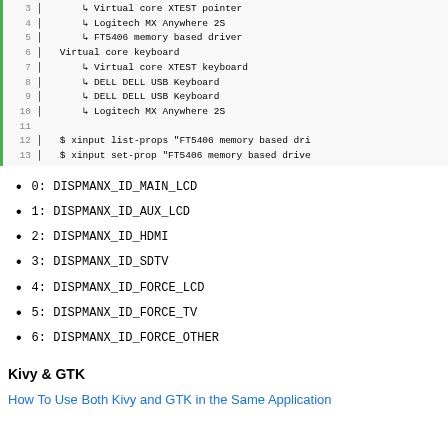3   ↳ Virtual core XTEST pointer
4   ↳ Logitech MX Anywhere 2S
5   ↳ FT5406 memory based driver
6  Virtual core keyboard
7   ↳ Virtual core XTEST keyboard
8   ↳ DELL DELL USB Keyboard
9   ↳ DELL DELL USB Keyboard
10  ↳ Logitech MX Anywhere 2S
11
12  $ xinput list-props "FT5406 memory based dri
13  $ xinput set-prop "FT5406 memory based drive
0: DISPMANX_ID_MAIN_LCD
1: DISPMANX_ID_AUX_LCD
2: DISPMANX_ID_HDMI
3: DISPMANX_ID_SDTV
4: DISPMANX_ID_FORCE_LCD
5: DISPMANX_ID_FORCE_TV
6: DISPMANX_ID_FORCE_OTHER
Kivy & GTK
How To Use Both Kivy and GTK in the Same Application